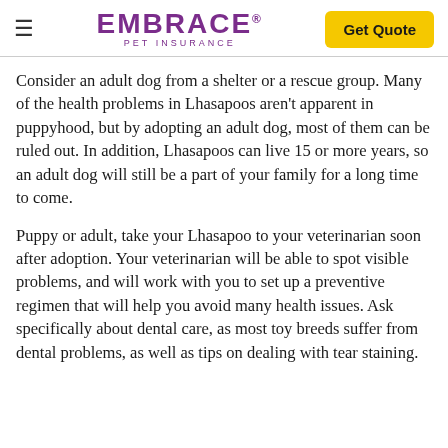EMBRACE PET INSURANCE | Get Quote
Consider an adult dog from a shelter or a rescue group. Many of the health problems in Lhasapoos aren't apparent in puppyhood, but by adopting an adult dog, most of them can be ruled out. In addition, Lhasapoos can live 15 or more years, so an adult dog will still be a part of your family for a long time to come.
Puppy or adult, take your Lhasapoo to your veterinarian soon after adoption. Your veterinarian will be able to spot visible problems, and will work with you to set up a preventive regimen that will help you avoid many health issues. Ask specifically about dental care, as most toy breeds suffer from dental problems, as well as tips on dealing with tear staining.